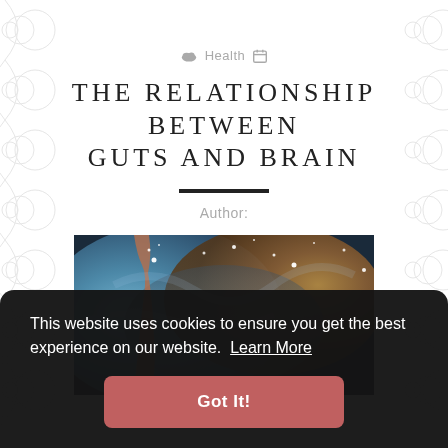Health
THE RELATIONSHIP BETWEEN GUTS AND BRAIN
Author:
[Figure (photo): Space nebula photograph showing blue and orange cosmic clouds with bright stars]
This website uses cookies to ensure you get the best experience on our website. Learn More
Got It!